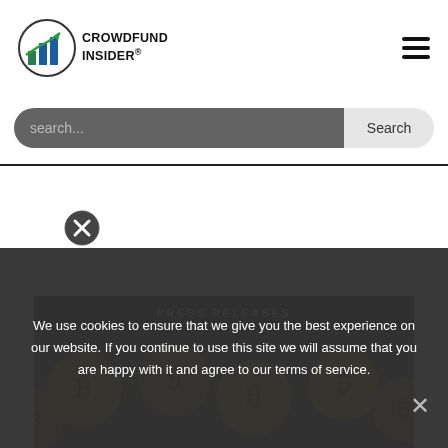[Figure (logo): Crowdfund Insider logo with bar chart icon and text 'CROWDFUND INSIDER®']
[Figure (other): Hamburger menu icon (three horizontal lines) in top right corner]
search...
[Figure (other): Close (X) button circle icon]
PRESS RELEASES
[Figure (photo): Bitcoin coins image background]
We use cookies to ensure that we give you the best experience on our website. If you continue to use this site we will assume that you are happy with it and agree to our terms of service.